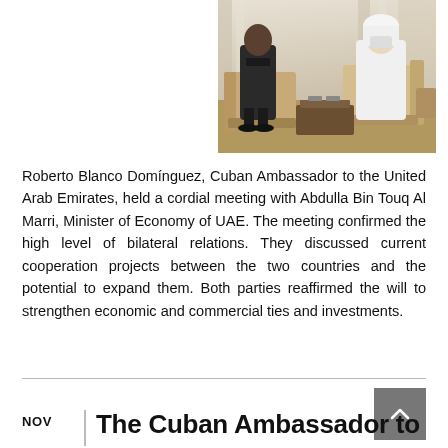[Figure (photo): Two men sitting in armchairs in a room with curtains; one wearing a dark suit and the other wearing traditional white UAE attire with a face mask.]
Roberto Blanco Domínguez, Cuban Ambassador to the United Arab Emirates, held a cordial meeting with Abdulla Bin Touq Al Marri, Minister of Economy of UAE. The meeting confirmed the high level of bilateral relations. They discussed current cooperation projects between the two countries and the potential to expand them. Both parties reaffirmed the will to strengthen economic and commercial ties and investments.
NOV  The Cuban Ambassador to